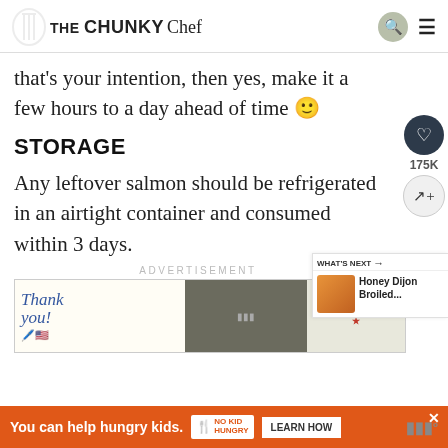THE CHUNKY Chef
that's your intention, then yes, make it a few hours to a day ahead of time 🙂
STORAGE
Any leftover salmon should be refrigerated in an airtight container and consumed within 3 days.
ADVERTISEMENT
[Figure (photo): Advertisement banner with 'Thank you!' handwritten text and military imagery, Operation branding]
[Figure (photo): WHAT'S NEXT panel showing Honey Dijon Broiled... with food thumbnail]
[Figure (infographic): Bottom orange advertisement: You can help hungry kids. No Kid Hungry. LEARN HOW button.]